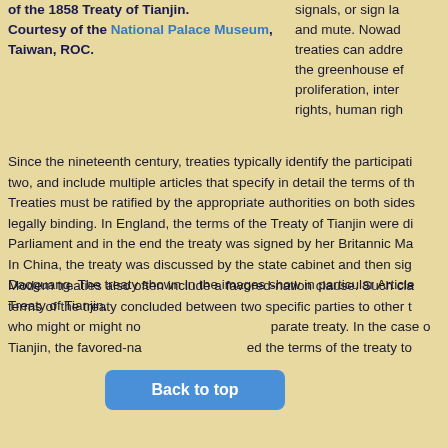of the 1858 Treaty of Tianjin. Courtesy of the National Palace Museum, Taiwan, ROC.
signals, or sign language used by deaf and mute. Nowadays, international treaties can address issues as varied as the greenhouse effect, nuclear proliferation, international intellectual rights, human rights
Since the nineteenth century, treaties typically identify the participation two, and include multiple articles that specify in detail the terms of the Treaties must be ratified by the appropriate authorities on both sides legally binding. In England, the terms of the Treaty of Tianjin were di Parliament and in the end the treaty was signed by her Britannic Ma In China, the treaty was discussed by the state cabinet and then sig Daoguang. The treaty shown in the images show in particular Article Treaty of Tianjin.
Modern treaties also often include a favored-nation clause. Such cla terms of the treaty concluded between two specific parties to other t who might or might not have a separate treaty. In the case of Tianjin, the favored-nation clause extended the terms of the treaty t
Back to top